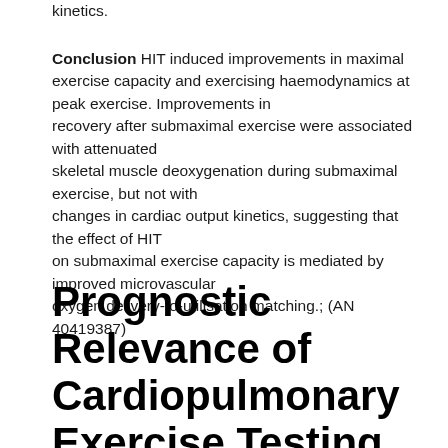kinetics.
Conclusion  HIT induced improvements in maximal exercise capacity and exercising haemodynamics at peak exercise. Improvements in recovery after submaximal exercise were associated with attenuated skeletal muscle deoxygenation during submaximal exercise, but not with changes in cardiac output kinetics, suggesting that the effect of HIT on submaximal exercise capacity is mediated by improved microvascular oxygen delivery-to-utilisation matching.; (AN 40419387)
Prognostic Relevance of Cardiopulmonary Exercise Testing in the